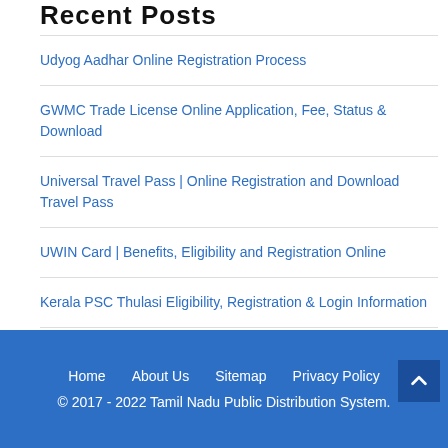Recent Posts
Udyog Aadhar Online Registration Process
GWMC Trade License Online Application, Fee, Status & Download
Universal Travel Pass | Online Registration and Download Travel Pass
UWIN Card | Benefits, Eligibility and Registration Online
Kerala PSC Thulasi Eligibility, Registration & Login Information
Home   About Us   Sitemap   Privacy Policy
© 2017 - 2022 Tamil Nadu Public Distribution System.